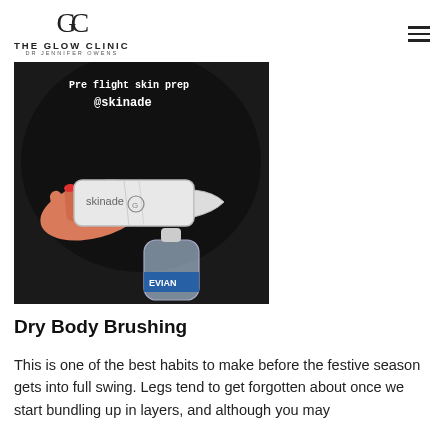THE GLOW CLINIC DR JENNIFER OWENS
[Figure (photo): Photo showing a hand holding a Skinade sachet product with text overlay reading 'Pre flight skin prep @skinade', and a small water bottle (Evian) visible in the lower portion, all on a dark background.]
Dry Body Brushing
This is one of the best habits to make before the festive season gets into full swing. Legs tend to get forgotten about once we start bundling up in layers, and although you may